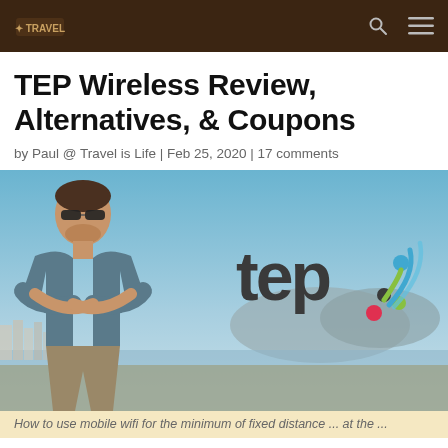Travel is Life navigation bar
TEP Wireless Review, Alternatives, & Coupons
by Paul @ Travel is Life | Feb 25, 2020 | 17 comments
[Figure (photo): Man with arms crossed smiling, standing outdoors with coastal city and blue sky in background, next to the TEP wireless logo]
How to use mobile wifi for the minimum of fixed distance... at the...